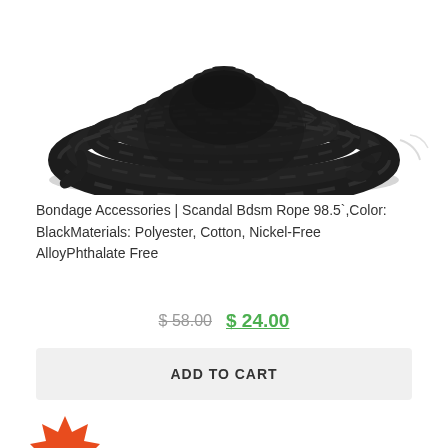[Figure (photo): Coiled black twisted rope (bondage rope) shown from above, large spool shape with loose ends, dark/black color, white background]
Bondage Accessories | Scandal Bdsm Rope 98.5`,Color: BlackMaterials: Polyester, Cotton, Nickel-Free AlloyPhthalate Free
$ 58.00  $ 24.00
ADD TO CART
[Figure (illustration): Partial orange starburst/badge shape visible at bottom left corner of page]